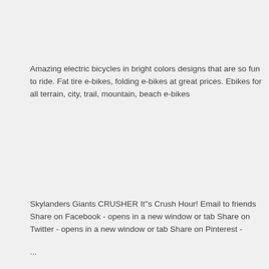Amazing electric bicycles in bright colors designs that are so fun to ride. Fat tire e-bikes, folding e-bikes at great prices. Ebikes for all terrain, city, trail, mountain, beach e-bikes
Skylanders Giants CRUSHER It''s Crush Hour! Email to friends Share on Facebook - opens in a new window or tab Share on Twitter - opens in a new window or tab Share on Pinterest -
...